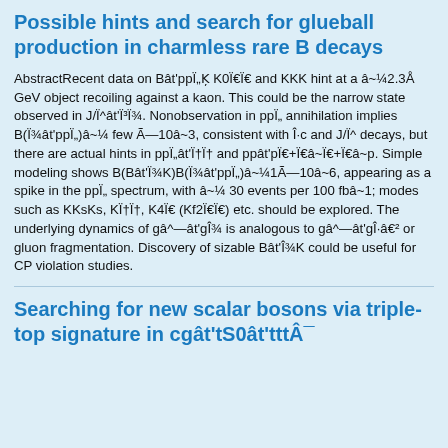Possible hints and search for glueball production in charmless rare B decays
AbstractRecent data on Bât'ppÏ„K̦ K0Ï€Ï€ and KKK hint at a â~¼2.3Å GeV object recoiling against a kaon. This could be the narrow state observed in J/Ï^ât'Ï³Ï¾. Nonobservation in ppÏ„ annihilation implies B(Ï¾ât'ppÏ„)â~¼ few Ã—10â~3, consistent with Î·c and J/Ï^ decays, but there are actual hints in ppÏ„ât'Ï†Ï† and ppât'pÏ€+Ï€â~Ï€+Ï€â~p. Simple modeling shows B(Bât'Ï¾K)B(Ï¾ât'ppÏ„)â~¼1Ã—10â~6, appearing as a spike in the ppÏ„ spectrum, with â~¼ 30 events per 100 fbâ~1; modes such as KKsKs, KÏ†Ï†, K4Ï€ (Kf2Ï€Ï€) etc. should be explored. The underlying dynamics of gâ^—ât'gÎ¾ is analogous to gâ^—ât'gÎ·â€² or gluon fragmentation. Discovery of sizable Bât'Î¾K could be useful for CP violation studies.
Searching for new scalar bosons via triple-top signature in cgât'tS0ât'tttÂ¯